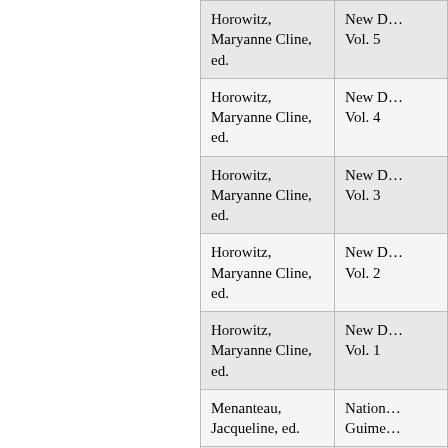| Author | Title |
| --- | --- |
| Horowitz, Maryanne Cline, ed. | New D… Vol. 5 |
| Horowitz, Maryanne Cline, ed. | New D… Vol. 4 |
| Horowitz, Maryanne Cline, ed. | New D… Vol. 3 |
| Horowitz, Maryanne Cline, ed. | New D… Vol. 2 |
| Horowitz, Maryanne Cline, ed. | New D… Vol. 1 |
| Menanteau, Jacqueline, ed. | Nation… Guime… |
| Moravčíková, Michaela; Lojda, Mi | Nábož… Islam… |
| Matsumura, Kazuo | Mythi… Learn… |
| Geertz, Clifford, ed. | Myth,… |
| Gourrou, Gilles… | Myrh… |